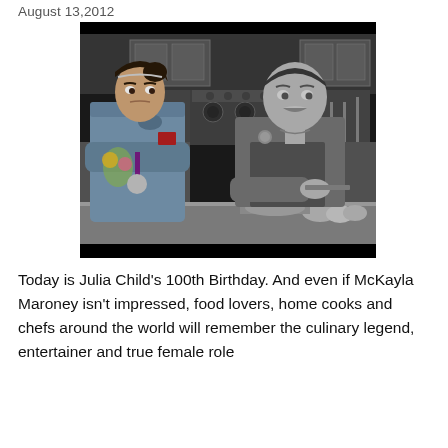August 13, 2012
[Figure (photo): Black and white composite photo of McKayla Maroney (in Team USA jacket with medal, arms crossed, unimpressed expression) next to Julia Child in a kitchen cooking show setting. McKayla appears in color/partial color while Julia Child scene is black and white.]
Today is Julia Child's 100th Birthday. And even if McKayla Maroney isn't impressed, food lovers, home cooks and chefs around the world will remember the culinary legend, entertainer and true female role